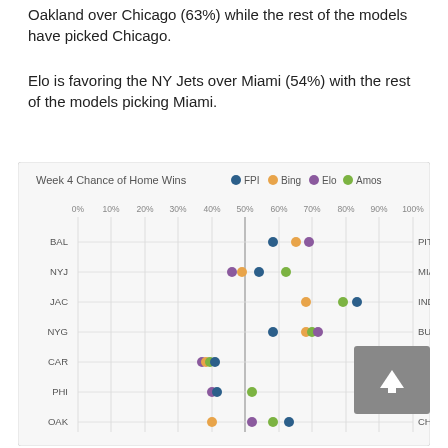Oakland over Chicago (63%) while the rest of the models have picked Chicago.
Elo is favoring the NY Jets over Miami (54%) with the rest of the models picking Miami.
[Figure (scatter-plot): Week 4 Chance of Home Wins]